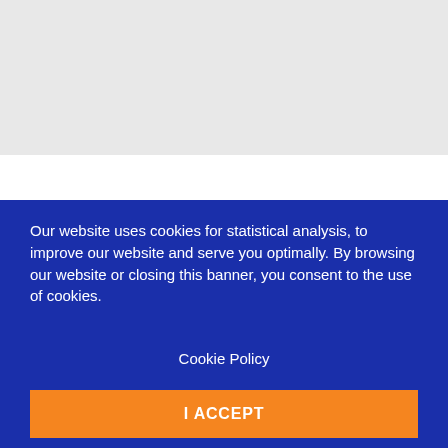Our website uses cookies for statistical analysis, to improve our website and serve you optimally. By browsing our website or closing this banner, you consent to the use of cookies.
Cookie Policy
I ACCEPT